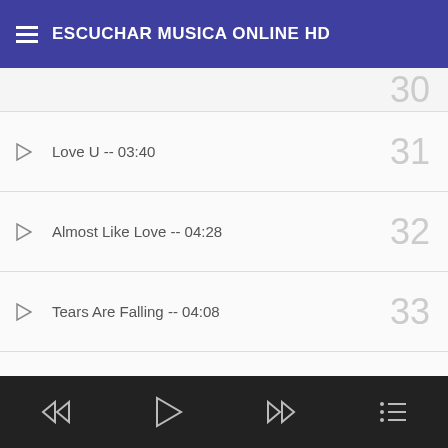ESCUCHAR MUSICA ONLINE HD
Love U -- 03:40
Almost Like Love -- 04:28
Tears Are Falling -- 04:08
Cellogic (Inst.) -- 02:03
Approach (Inst.) -- 01:38
Stranger Sun (Inst.) -- 03:38
Media player controls: back, play, forward, list